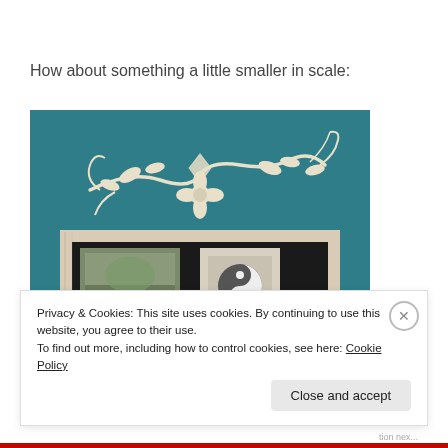How about something a little smaller in scale:
[Figure (photo): A decorative cream-colored metal wall art piece with floral and vine motifs displayed on a teal wall above a rustic whitewashed wooden picture frame containing two small artworks.]
Privacy & Cookies: This site uses cookies. By continuing to use this website, you agree to their use.
To find out more, including how to control cookies, see here: Cookie Policy
Close and accept